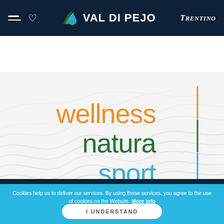[Figure (logo): Val di Pejo website header with hamburger menu, heart icon, Val di Pejo logo (leaf/water drop icon with bold uppercase text), and Trentino logo on dark navy background]
[Figure (illustration): Hero section with topographic map lines in light gray on white background, featuring three stacked words: 'wellness' in orange, 'natura' in dark green, 'sport' in light blue, with a tricolor vertical bar (orange, green, blue) to the right of the text]
Cookies help us to deliver our services. By using these services, you agree to the use of cookies on the Website. More info
I UNDERSTAND